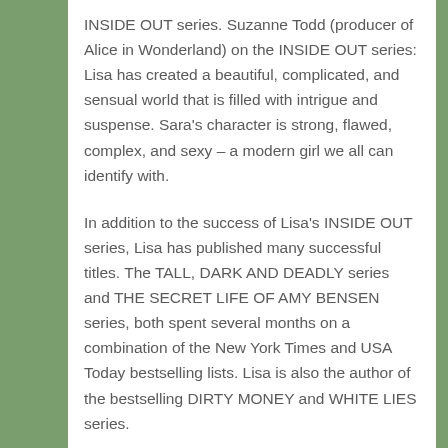INSIDE OUT series. Suzanne Todd (producer of Alice in Wonderland) on the INSIDE OUT series: Lisa has created a beautiful, complicated, and sensual world that is filled with intrigue and suspense. Sara's character is strong, flawed, complex, and sexy – a modern girl we all can identify with.
In addition to the success of Lisa's INSIDE OUT series, Lisa has published many successful titles. The TALL, DARK AND DEADLY series and THE SECRET LIFE OF AMY BENSEN series, both spent several months on a combination of the New York Times and USA Today bestselling lists. Lisa is also the author of the bestselling DIRTY MONEY and WHITE LIES series.
Prior to publishing Lisa owned multi-state staffing